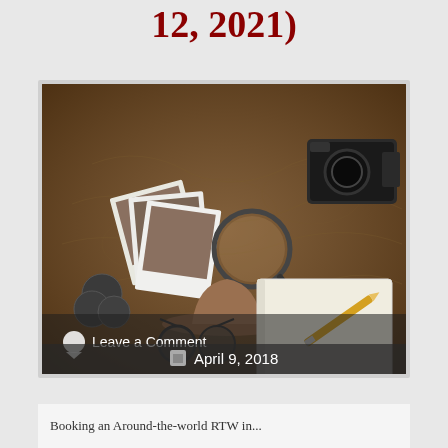12, 2021)
[Figure (photo): Travel flat lay photo showing an old map background with travel items: Polaroid photos, a magnifying glass, a camera, coins, a hat, sunglasses, a notebook, and a pencil. Overlaid text shows 'Leave a Comment' and 'April 9, 2018'.]
Booking an Around-the-world RTW in...